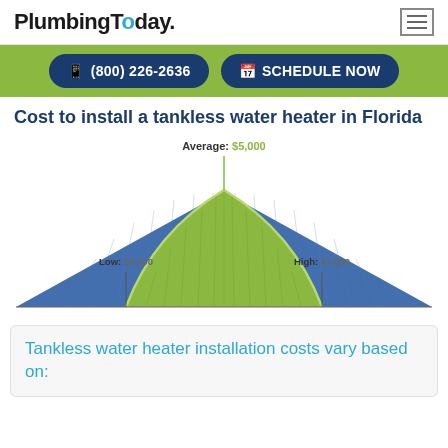PlumbingToday.
(800) 226-2636 | SCHEDULE NOW
Cost to install a tankless water heater in Florida
[Figure (infographic): Bell-curve style distribution chart showing cost range for tankless water heater installation in Florida. Low: $3,000, Average: $5,000, High: $7,000. Blue outer area and green inner peak area forming a arch/bell shape.]
Tankless water heater installation costs vary based on: